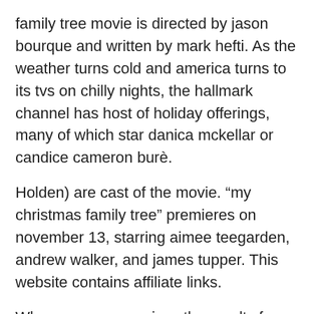family tree movie is directed by jason bourque and written by mark hefti. As the weather turns cold and america turns to its tvs on chilly nights, the hallmark channel has host of holiday offerings, many of which star danica mckellar or candice cameron burè.
Holden) are cast of the movie. “my christmas family tree” premieres on november 13, starring aimee teegarden, andrew walker, and james tupper. This website contains affiliate links.
When vanessa receives the results from her family tree dna test, she discovers a family she didn't know existed and travels to. Holden) are cast of the movie. 'my christmas family tree' full cast list:
Aimee teegarden, andrew walker and others star in